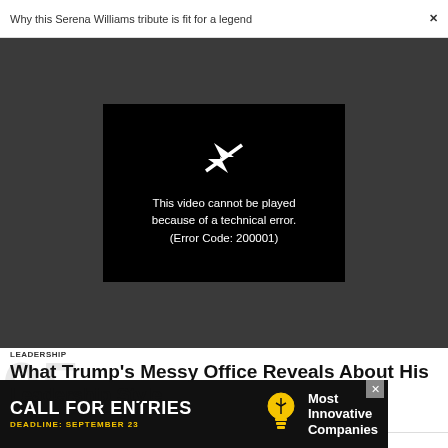Why this Serena Williams tribute is fit for a legend
[Figure (screenshot): Video player showing error message: 'This video cannot be played because of a technical error. (Error Code: 200001)' on a dark grey background with a broken play icon]
LEADERSHIP
What Trump's Messy Office Reveals About His Leadership Style
[Figure (other): Large watermark number '05' in light grey]
[Figure (infographic): Advertisement banner: CALL FOR ENTRIES, DEADLINE: SEPTEMBER 23, Most Innovative Companies]